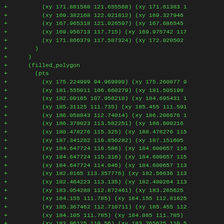Diff output showing added lines with coordinate pairs for filled_polygon geometry in a CAD/EDA file format